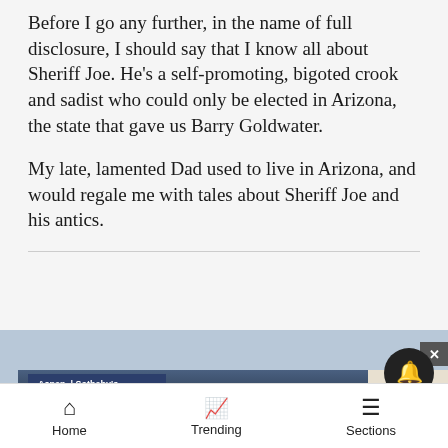Before I go any further, in the name of full disclosure, I should say that I know all about Sheriff Joe. He’s a self-promoting, bigoted crook and sadist who could only be elected in Arizona, the state that gave us Barry Goldwater.
My late, lamented Dad used to live in Arizona, and would regale me with tales about Sheriff Joe and his antics.
[Figure (photo): Advertisement for Aspen Snowmads Sotheby’s International Realty showing a luxury mountain home at night with warm interior lighting reflected in a lake, surrounded by mountains and trees. Text reads: We have the perfect mountain getaway for you. RENT WITH THE BEST.]
Home   Trending   Sections